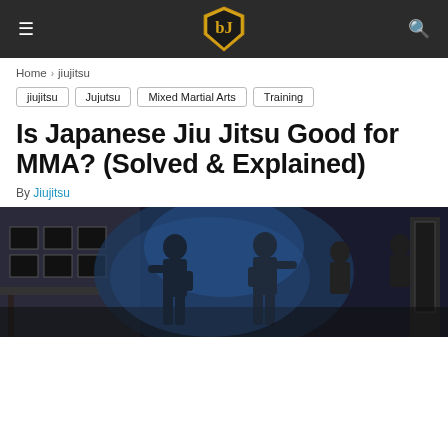Navigation bar with hamburger menu, shield logo, and search icon
Home › jiujitsu
jiujitsu
Jujutsu
Mixed Martial Arts
Training
Is Japanese Jiu Jitsu Good for MMA? (Solved & Explained)
By Jiujitsu
[Figure (photo): Two martial artists sparring in a gym setting with dim blue-tinted lighting, other people visible in background]